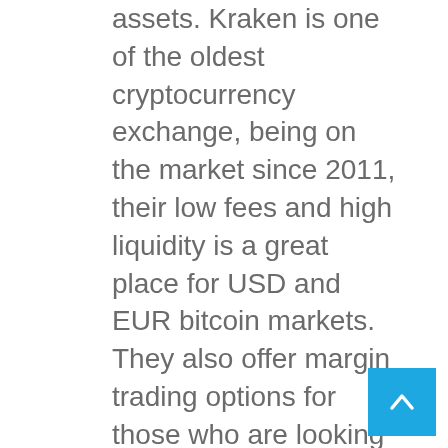assets. Kraken is one of the oldest cryptocurrency exchange, being on the market since 2011, their low fees and high liquidity is a great place for USD and EUR bitcoin markets. They also offer margin trading options for those who are looking for more than buying and holding bitcoins. Depositing with USD, CAD, and EUR SEPA is free of charge and only takes 1–2 days to be added to your account. The bitcoin price is one of the best on the market you can get. The